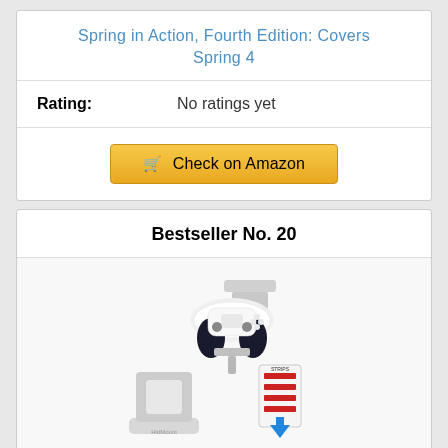Spring in Action, Fourth Edition: Covers Spring 4
Rating: No ratings yet
Check on Amazon
Bestseller No. 20
[Figure (photo): Product photo of TotalMount PS5 controller holders showing a white PS5 DualSense controller mounted on a wall mount stand, along with mounting hardware strips and a blue arrow indicating installation]
TotalMount Holders for PS5 Controllers –